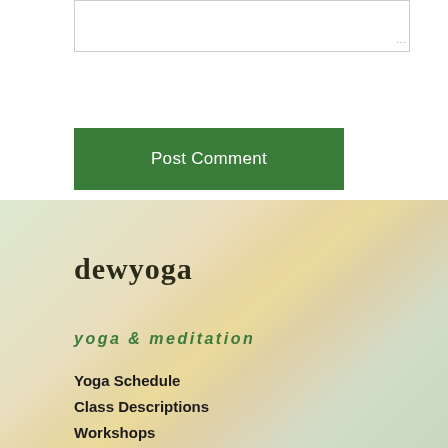[Figure (other): Text input textarea box with resize handle in bottom-right corner]
Post Comment
[Figure (other): Footer background with soft gradient blending sage green, warm tan, and golden yellow diagonal tones]
dewyoga
yoga & meditation
Yoga Schedule
Class Descriptions
Workshops
Meditation